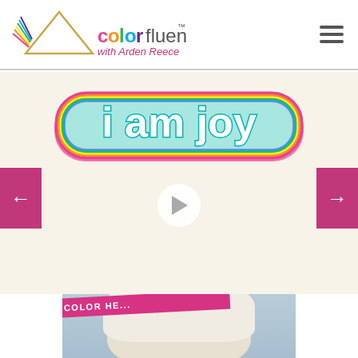[Figure (logo): Color Fluency logo with triangle/prism icon and rainbow colors, text 'colorfluency™ with Arden Reece']
[Figure (screenshot): Hamburger menu icon (three horizontal lines) in top right corner]
[Figure (screenshot): Video thumbnail with 'i am joy' colorful bubble text and a play button in center, on cream/beige background. Navigation arrows on left and right sides.]
[Figure (photo): Photo of a blonde woman with white hair, blue background, with 'COLOR HE...' pink banner overlaid diagonally at top]